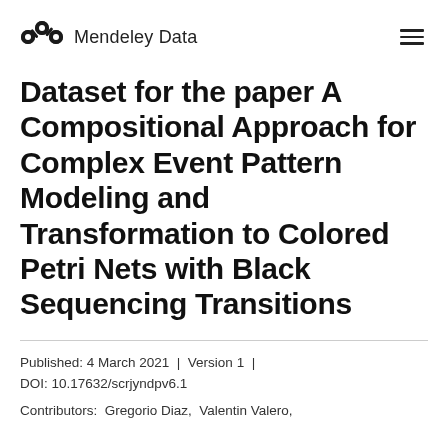Mendeley Data
Dataset for the paper A Compositional Approach for Complex Event Pattern Modeling and Transformation to Colored Petri Nets with Black Sequencing Transitions
Published: 4 March 2021  |  Version 1  |  DOI: 10.17632/scrjyndpv6.1
Contributors:  Gregorio Diaz,  Valentin Valero,